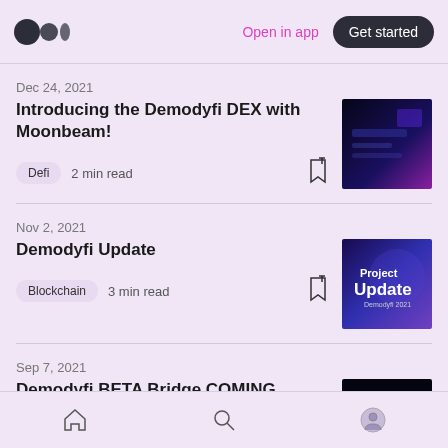Medium logo | Open in app | Get started
Dec 24, 2021
Introducing the Demodyfi DEX with Moonbeam!
Defi  2 min read
[Figure (photo): Dark tech/dashboard screenshot thumbnail for Demodyfi DEX article]
Nov 2, 2021
Demodyfi Update
Blockchain  3 min read
[Figure (photo): Purple Project Update thumbnail image]
Sep 7, 2021
Demodyfi BETA Bridge COMING
[Figure (photo): Dark thumbnail for Demodyfi BETA Bridge article]
Home | Search | Profile